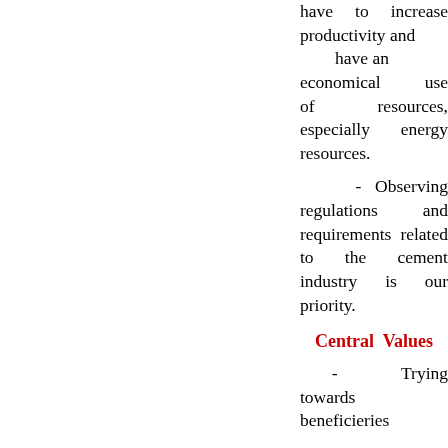have to increase productivity and have an economical use of resources, especially energy resources.
- Observing regulations and requirements related to the cement industry is our priority.
Central Values
- Trying towards beneficieries